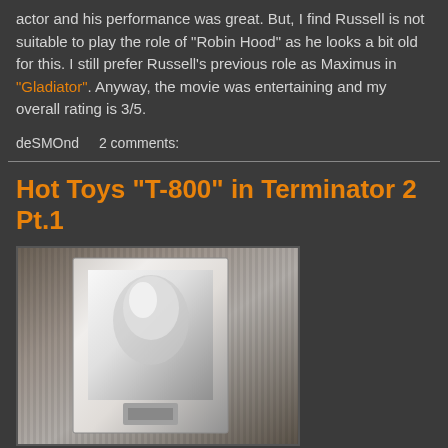actor and his performance was great. But, I find Russell is not suitable to play the role of "Robin Hood" as he looks a bit old for this. I still prefer Russell's previous role as Maximus in "Gladiator". Anyway, the movie was entertaining and my overall rating is 3/5.
deSMOnd   2 comments:
Hot Toys "T-800" in Terminator 2 Pt.1
[Figure (photo): A black and white photograph showing a Terminator T-800 action figure in its packaging box. The box appears to be a collector's edition Hot Toys packaging with visible product inside.]